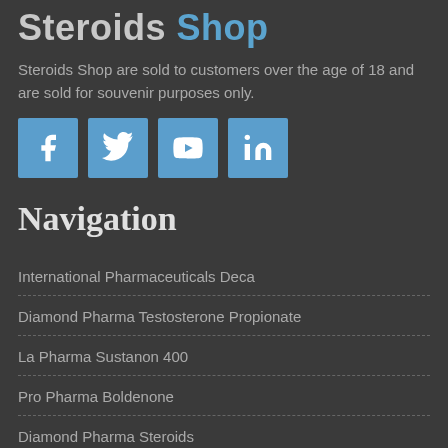Steroids Shop
Steroids Shop are sold to customers over the age of 18 and are sold for souvenir purposes only.
[Figure (infographic): Four social media icon buttons: Facebook, Twitter, YouTube, LinkedIn — all in blue square buttons]
Navigation
International Pharmaceuticals Deca
Diamond Pharma Testosterone Propionate
La Pharma Sustanon 400
Pro Pharma Boldenone
Diamond Pharma Steroids